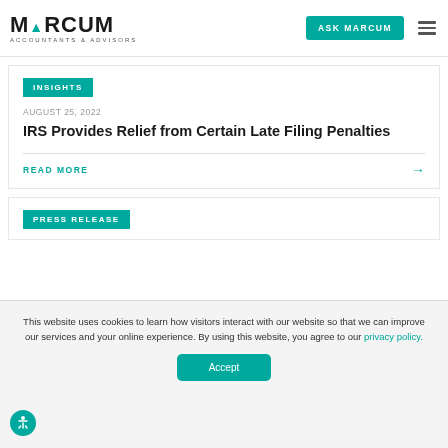MARCUM ACCOUNTANTS & ADVISORS | ASK MARCUM
INSIGHTS
AUGUST 25, 2022
IRS Provides Relief from Certain Late Filing Penalties
READ MORE →
PRESS RELEASE
This website uses cookies to learn how visitors interact with our website so that we can improve our services and your online experience. By using this website, you agree to our privacy policy.
Accept